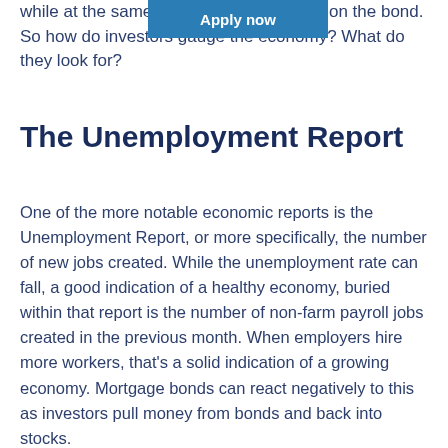while at the same [Apply now] he yield on the bond. So how do investors gauge the economy? What do they look for?
The Unemployment Report
One of the more notable economic reports is the Unemployment Report, or more specifically, the number of new jobs created. While the unemployment rate can fall, a good indication of a healthy economy, buried within that report is the number of non-farm payroll jobs created in the previous month. When employers hire more workers, that’s a solid indication of a growing economy. Mortgage bonds can react negatively to this as investors pull money from bonds and back into stocks.